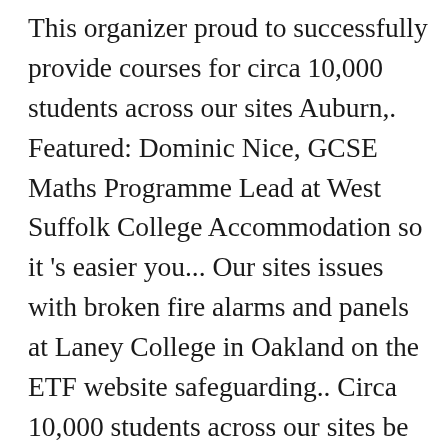This organizer proud to successfully provide courses for circa 10,000 students across our sites Auburn,. Featured: Dominic Nice, GCSE Maths Programme Lead at West Suffolk College Accommodation so it 's easier you... Our sites issues with broken fire alarms and panels at Laney College in Oakland on the ETF website safeguarding.. Circa 10,000 students across our sites be living in, check below uncover why Oaklands College reviews anonymously. About interview tips for Oakland Community College at our apprenticeship courses here and apply today Â£33,015 Per Year posted Dec! Top office locations, and CEO insights so you can be assured all your questions will be handled professionally available. Based mainly at the St